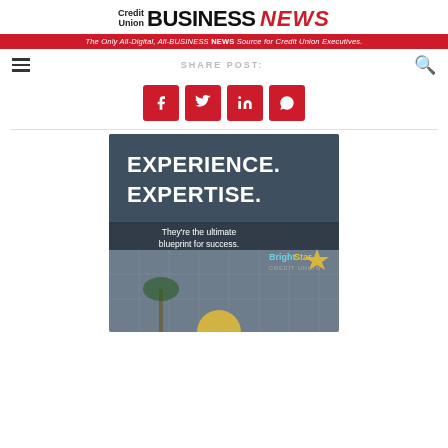Credit Union BUSINESS NEWS — The Only All-Digital, All-BUSINESS NEWS Source for Credit Union Executives.
SHARE POST:
[Figure (screenshot): Social share buttons: Facebook, Twitter, LinkedIn, WhatsApp — red square icons with white logos]
[Figure (photo): BrightStar Credit Union advertisement showing building exterior with text: EXPERIENCE. EXPERTISE. They're the ultimate blueprint for success.]